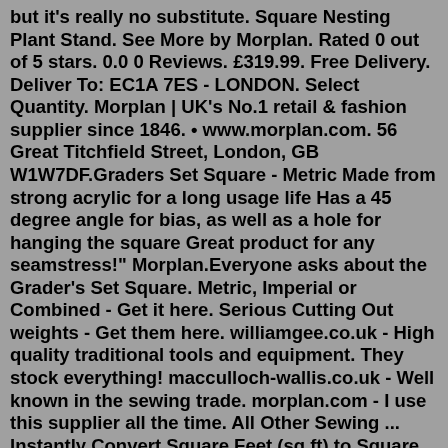but it's really no substitute. Square Nesting Plant Stand. See More by Morplan. Rated 0 out of 5 stars. 0.0 0 Reviews. £319.99. Free Delivery. Deliver To: EC1A 7ES - LONDON. Select Quantity. Morplan | UK's No.1 retail & fashion supplier since 1846. • www.morplan.com. 56 Great Titchfield Street, London, GB W1W7DF.Graders Set Square - Metric Made from strong acrylic for a long usage life Has a 45 degree angle for bias, as well as a hole for hanging the square Great product for any seamstress!" Morplan.Everyone asks about the Grader's Set Square. Metric, Imperial or Combined - Get it here. Serious Cutting Out weights - Get them here. williamgee.co.uk - High quality traditional tools and equipment. They stock everything! macculloch-wallis.co.uk - Well known in the sewing trade. morplan.com - I use this supplier all the time. All Other Sewing ... Instantly Convert Square Feet (sq ft) to Square Meters (m 2 ) and Many More Area Conversions Square foot (sq ft) is an area of one foot by one foot. One square foot = 144 square inches =